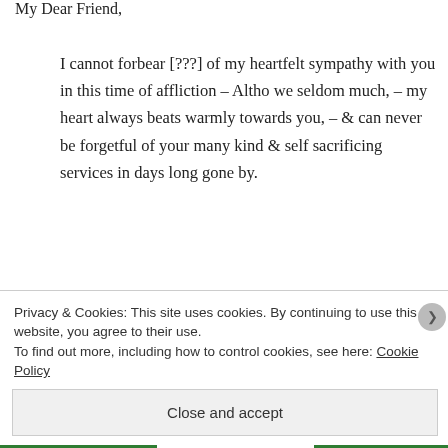My Dear Friend,
I cannot forbear [???] of my heartfelt sympathy with you in this time of affliction – Altho we seldom much, – my heart always beats warmly towards you, – & can never be forgetful of your many kind & self sacrificing services in days long gone by.
I had not the pleasure to know Arthur,
Privacy & Cookies: This site uses cookies. By continuing to use this website, you agree to their use.
To find out more, including how to control cookies, see here: Cookie Policy
Close and accept